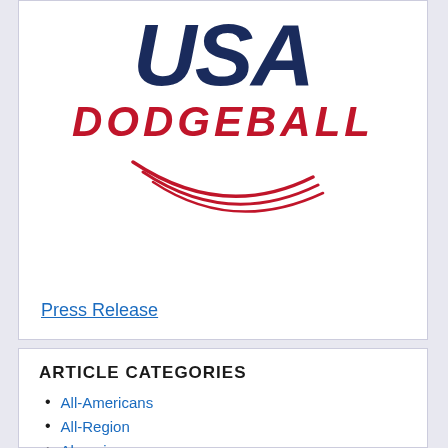[Figure (logo): USA Dodgeball logo with large dark navy italic 'USA' text, red italic 'DODGEBALL' text below, and a red swoosh/arc design underneath]
Press Release
ARTICLE CATEGORIES
All-Americans
All-Region
Alumni